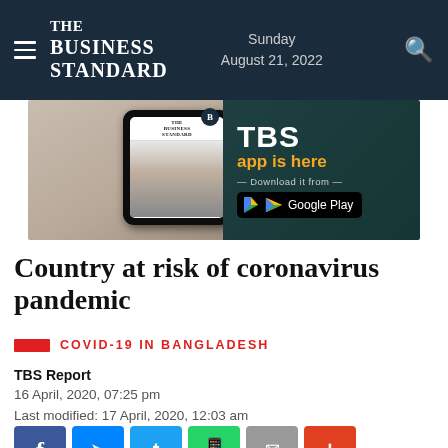The Business Standard — Sunday August 21, 2022
[Figure (screenshot): TBS app advertisement banner: hand holding a phone showing The Business Standard website, with text 'TBS app is here — Download it from — Google Play']
Country at risk of coronavirus pandemic
COVID-19 IN BANGLADESH
TBS Report
16 April, 2020, 07:25 pm
Last modified: 17 April, 2020, 12:03 am